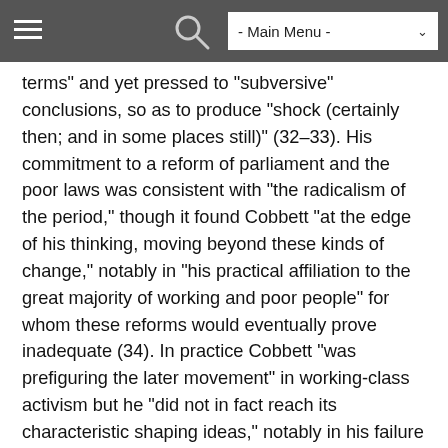- Main Menu -
terms" and yet pressed to "subversive" conclusions, so as to produce "shock (certainly then; and in some places still)" (32–33). His commitment to a reform of parliament and the poor laws was consistent with "the radicalism of the period," though it found Cobbett "at the edge of his thinking, moving beyond these kinds of change," notably in "his practical affiliation to the great majority of working and poor people" for whom these reforms would eventually prove inadequate (34). In practice Cobbett "was prefiguring the later movement" in working-class activism but he "did not in fact reach its characteristic shaping ideas," notably in his failure to engage "the new kinds of co-operative and collective social provision" that were evident in the work of Paine and Owen (34–35). His "hatred of the great proprietors and manufacturers" fostered his sympathy for emerging labor organization, yet he still